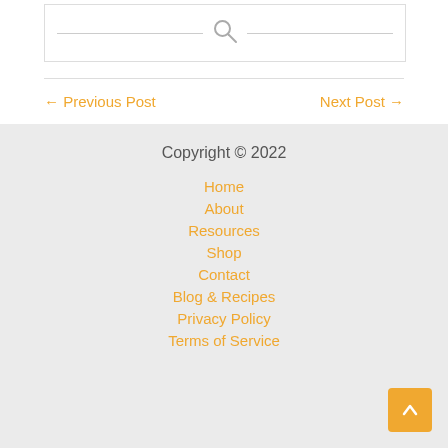[Figure (other): Search bar widget with a magnifying glass icon centered between two horizontal lines]
← Previous Post
Next Post →
Copyright © 2022
Home
About
Resources
Shop
Contact
Blog & Recipes
Privacy Policy
Terms of Service